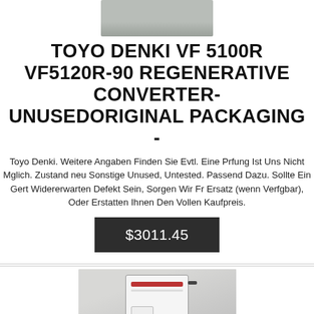[Figure (photo): Top portion of a product photo showing a metallic/grey industrial device on white background]
TOYO DENKI VF 5100R VF5120R-90 REGENERATIVE CONVERTER- UNUSEDORIGINAL PACKAGING -
Toyo Denki. Weitere Angaben Finden Sie Evtl. Eine Prfung Ist Uns Nicht Mglich. Zustand neu Sonstige Unused, Untested. Passend Dazu. Sollte Ein Gert Widererwarten Defekt Sein, Sorgen Wir Fr Ersatz (wenn Verfgbar), Oder Erstatten Ihnen Den Vollen Kaufpreis.
$3011.45
[Figure (photo): Bottom product photo showing a white industrial converter/drive device with cables mounted on a rack]